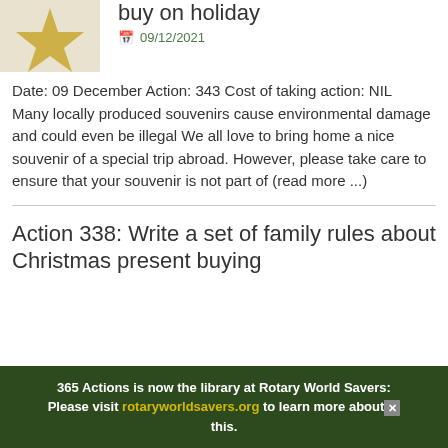[Figure (photo): Partial image of a gold star or decorative object on a light background]
buy on holiday
09/12/2021
Date: 09 December Action: 343 Cost of taking action: NIL   Many locally produced souvenirs cause environmental damage and could even be illegal We all love to bring home a nice souvenir of a special trip abroad. However, please take care to ensure that your souvenir is not part of (read more ...)
Action 338: Write a set of family rules about Christmas present buying
365 Actions is now the library at Rotary World Savers: Please visit rotaryworldsavers.org to learn more about this.